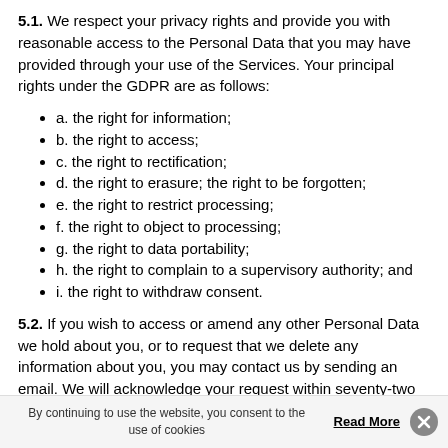5.1. We respect your privacy rights and provide you with reasonable access to the Personal Data that you may have provided through your use of the Services. Your principal rights under the GDPR are as follows:
a. the right for information;
b. the right to access;
c. the right to rectification;
d. the right to erasure; the right to be forgotten;
e. the right to restrict processing;
f. the right to object to processing;
g. the right to data portability;
h. the right to complain to a supervisory authority; and
i. the right to withdraw consent.
5.2. If you wish to access or amend any other Personal Data we hold about you, or to request that we delete any information about you, you may contact us by sending an email. We will acknowledge your request within seventy-two (72) hours and handle it promptly. We will respond to these requests within a month, with a possibility to extend this period for particularly complex requests in
By continuing to use the website, you consent to the use of cookies  Read More